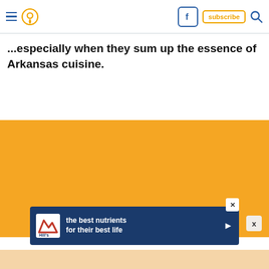Navigation header with hamburger menu, location pin icon, Facebook icon, subscribe button, and search icon
...especially when they sum up the essence of Arkansas cuisine.
[Figure (other): Large orange/amber colored advertisement block]
[Figure (other): Hill's pet nutrition advertisement banner: 'the best nutrients for their best life' with Hill's logo on blue background]